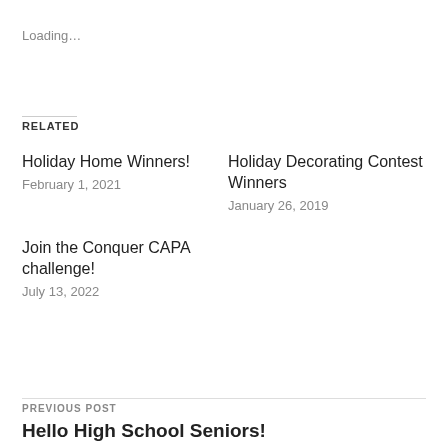Loading...
RELATED
Holiday Home Winners!
February 1, 2021
Holiday Decorating Contest Winners
January 26, 2019
Join the Conquer CAPA challenge!
July 13, 2022
PREVIOUS POST
Hello High School Seniors!